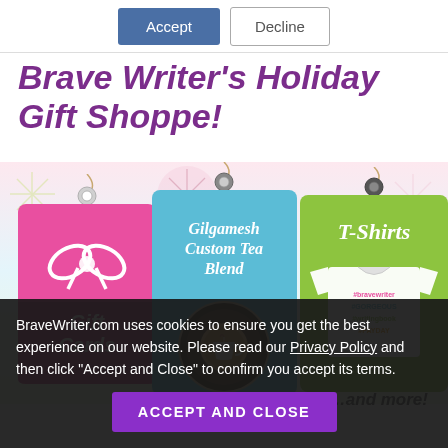Accept | Decline
Brave Writer's Holiday Gift Shoppe!
[Figure (illustration): Three gift tag illustrations: a pink tag with a bow labeled 'Gift Cards', a blue tag labeled 'Gilgamesh Custom Tea Blend' with a tin of tea, and a green tag labeled 'T-Shirts' with a t-shirt graphic.]
...and more!
BraveWriter.com uses cookies to ensure you get the best experience on our website. Please read our Privacy Policy and then click “Accept and Close” to confirm you accept its terms.
ACCEPT AND CLOSE